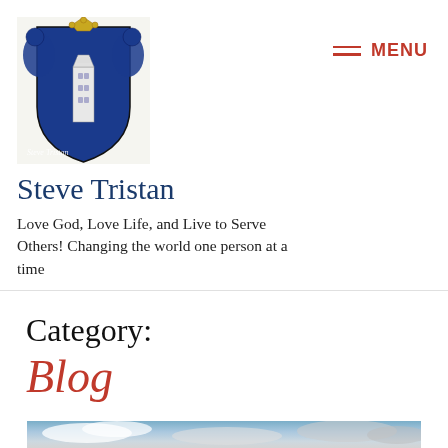[Figure (logo): Steve Tristan heraldic coat of arms logo with navy blue shield, lighthouse, and heraldic animals, with signature text 'Steve Tristan' overlaid]
Steve Tristan
Love God, Love Life, and Live to Serve Others! Changing the world one person at a time
Category:
Blog
[Figure (photo): Blue sky with clouds, partially grey/white, bottom portion of image visible]